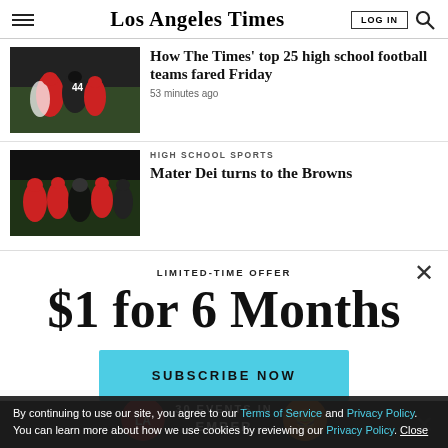Los Angeles Times
[Figure (photo): Football players during a high school game]
How The Times' top 25 high school football teams fared Friday
53 minutes ago
[Figure (photo): High school football players on the field]
HIGH SCHOOL SPORTS
Mater Dei turns to the Browns
LIMITED-TIME OFFER
$1 for 6 Months
SUBSCRIBE NOW
By continuing to use our site, you agree to our Terms of Service and Privacy Policy. You can learn more about how we use cookies by reviewing our Privacy Policy. Close